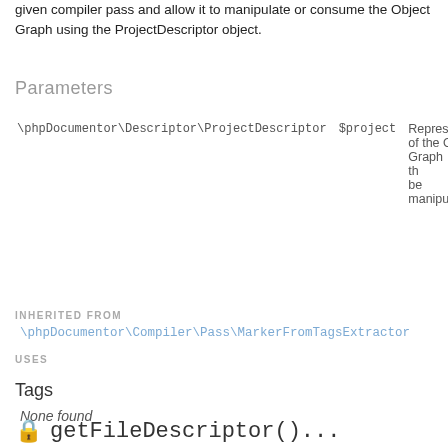given compiler pass and allow it to manipulate or consume the Object Graph using the ProjectDescriptor object.
Parameters
| Type | Name | Description |
| --- | --- | --- |
| \phpDocumentor\Descriptor\ProjectDescriptor | $project | Represents the state of the Object Graph that can be manipulated... |
INHERITED FROM
\phpDocumentor\Compiler\Pass\MarkerFromTagsExtractor
USES
Tags
None found
🔒 getFileDescriptor()...